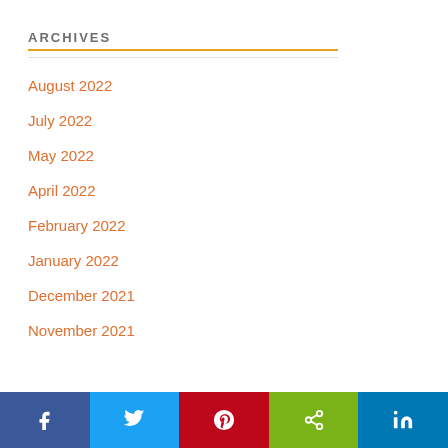ARCHIVES
August 2022
July 2022
May 2022
April 2022
February 2022
January 2022
December 2021
November 2021
[Figure (infographic): Social media share bar with Facebook, Twitter, Pinterest, Share, and LinkedIn buttons]